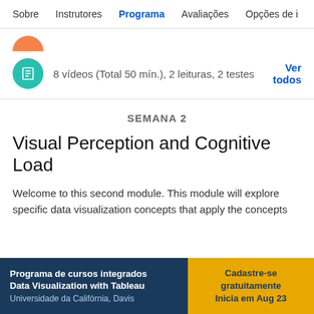Sobre   Instrutores   Programa   Avaliações   Opções de i
[Figure (other): Orange circle icon (partially visible, cropped)]
8 vídeos (Total 50 mín.), 2 leituras, 2 testes
Ver todos
SEMANA 2
Visual Perception and Cognitive Load
Welcome to this second module. This module will explore specific data visualization concepts that apply the concepts
Programa de cursos integrados
Data Visualization with Tableau
Universidade da Califórnia, Davis
Cadastre-se gratuitamente
Inicia em Aug 23